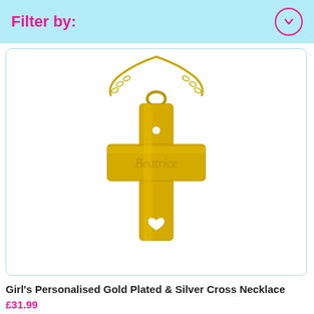Filter by:
[Figure (photo): Gold plated cross necklace with 'Beatrice' engraved on the horizontal bar, featuring a small heart cutout near the bottom and a small diamond-like stone near the top, hanging on a gold chain. White background.]
Girl's Personalised Gold Plated & Silver Cross Necklace
£31.99